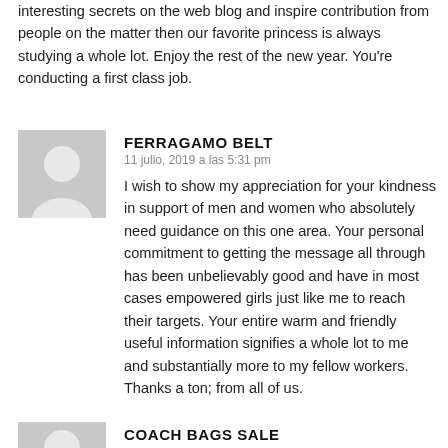interesting secrets on the web blog and inspire contribution from people on the matter then our favorite princess is always studying a whole lot. Enjoy the rest of the new year. You’re conducting a first class job.
FERRAGAMO BELT
11 julio, 2019 a las 5:31 pm
I wish to show my appreciation for your kindness in support of men and women who absolutely need guidance on this one area. Your personal commitment to getting the message all through has been unbelievably good and have in most cases empowered girls just like me to reach their targets. Your entire warm and friendly useful information signifies a whole lot to me and substantially more to my fellow workers. Thanks a ton; from all of us.
COACH BAGS SALE